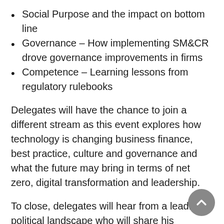Social Purpose and the impact on bottom line
Governance – How implementing SM&CR drove governance improvements in firms
Competence – Learning lessons from regulatory rulebooks
Delegates will have the chance to join a different stream as this event explores how technology is changing business finance, best practice, culture and governance and what the future may bring in terms of net zero, digital transformation and leadership.
To close, delegates will hear from a leading political landscape who will share his thoughts on what we can expect from the Government.
This must-attend event gives delegates the chance to take stock, arm themselves with ideas and prepare for